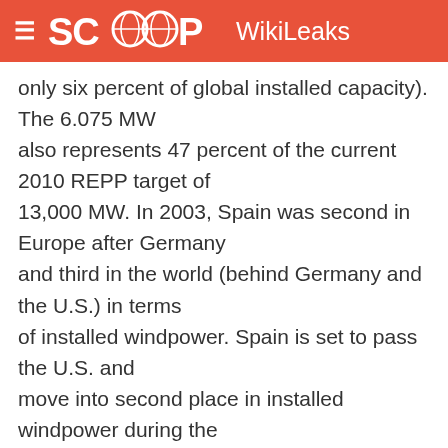SCOOP WikiLeaks
only six percent of global installed capacity). The 6.075 MW also represents 47 percent of the current 2010 REPP target of 13,000 MW. In 2003, Spain was second in Europe after Germany and third in the world (behind Germany and the U.S.) in terms of installed windpower. Spain is set to pass the U.S. and move into second place in installed windpower during the course of 2004 (8,000 MW of installed windpower by the end of